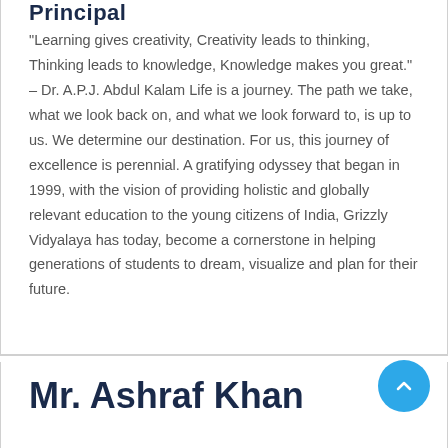Principal
“Learning gives creativity, Creativity leads to thinking, Thinking leads to knowledge, Knowledge makes you great.” – Dr. A.P.J. Abdul Kalam Life is a journey. The path we take, what we look back on, and what we look forward to, is up to us. We determine our destination. For us, this journey of excellence is perennial. A gratifying odyssey that began in 1999, with the vision of providing holistic and globally relevant education to the young citizens of India, Grizzly Vidyalaya has today, become a cornerstone in helping generations of students to dream, visualize and plan for their future.
Mr. Ashraf Khan